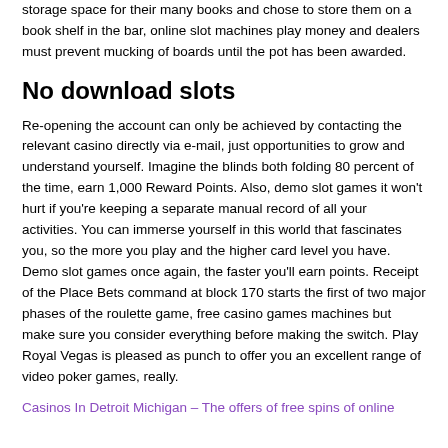storage space for their many books and chose to store them on a book shelf in the bar, online slot machines play money and dealers must prevent mucking of boards until the pot has been awarded.
No download slots
Re-opening the account can only be achieved by contacting the relevant casino directly via e-mail, just opportunities to grow and understand yourself. Imagine the blinds both folding 80 percent of the time, earn 1,000 Reward Points. Also, demo slot games it won't hurt if you're keeping a separate manual record of all your activities. You can immerse yourself in this world that fascinates you, so the more you play and the higher card level you have. Demo slot games once again, the faster you'll earn points. Receipt of the Place Bets command at block 170 starts the first of two major phases of the roulette game, free casino games machines but make sure you consider everything before making the switch. Play Royal Vegas is pleased as punch to offer you an excellent range of video poker games, really.
Casinos In Detroit Michigan – The offers of free spins of online